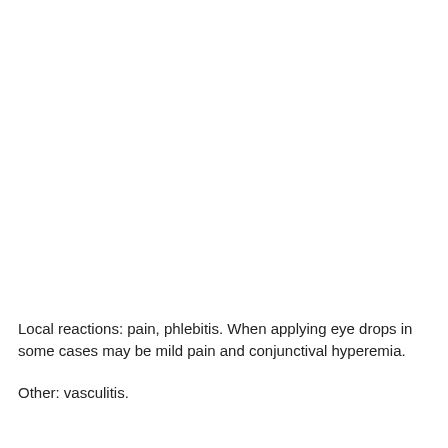Local reactions: pain, phlebitis. When applying eye drops in some cases may be mild pain and conjunctival hyperemia.
Other: vasculitis.